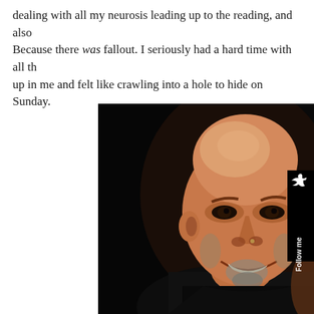dealing with all my neurosis leading up to the reading, and also. Because there was fallout. I seriously had a hard time with all th up in me and felt like crawling into a hole to hide on Sunday.
[Figure (photo): Close-up portrait photo of a bald, smiling middle-aged man with stubble and goatee, wearing a black shirt, photographed against a dark/black background. A 'Follow me' Twitter badge overlays the upper right corner of the photo.]